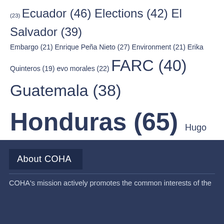(23) Ecuador (46) Elections (42) El Salvador (39) Embargo (21) Enrique Peña Nieto (27) Environment (21) Erika Quinteros (19) evo morales (22) FARC (40) Guatemala (38) Honduras (65) Hugo Chávez (31) Human Rights (72) Immigration (35) Larry Birns (25) Latin America (45) Mauricio Macri (23) Mexico (110) Michel Temer (31) Nicaragua (39) Nicolas Maduro (34) OAS (35) Obama (22) Peru (44) U.S. (21) UNASUR (20) United Nations (18) United States (92) Uruguay (19) Venezuela (156) Violence (19)
About COHA
COHA's mission actively promotes the common interests of the